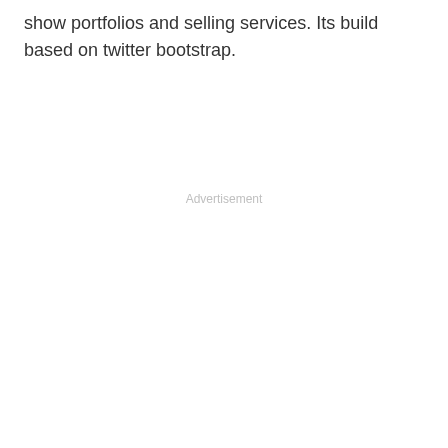show portfolios and selling services. Its build based on twitter bootstrap.
Advertisement